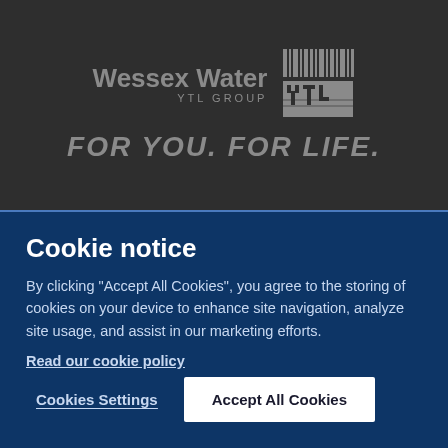[Figure (logo): Wessex Water YTL Group logo with barcode-style YTL icon and tagline FOR YOU. FOR LIFE.]
Cookie notice
By clicking "Accept All Cookies", you agree to the storing of cookies on your device to enhance site navigation, analyze site usage, and assist in our marketing efforts.
Read our cookie policy
Cookies Settings
Accept All Cookies